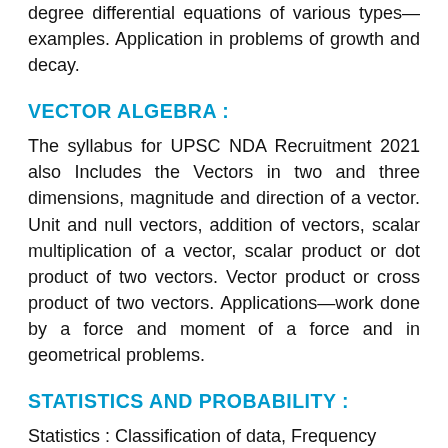degree differential equations of various types—examples. Application in problems of growth and decay.
VECTOR ALGEBRA :
The syllabus for UPSC NDA Recruitment 2021 also Includes the Vectors in two and three dimensions, magnitude and direction of a vector. Unit and null vectors, addition of vectors, scalar multiplication of a vector, scalar product or dot product of two vectors. Vector product or cross product of two vectors. Applications—work done by a force and moment of a force and in geometrical problems.
STATISTICS AND PROBABILITY :
Statistics : Classification of data, Frequency